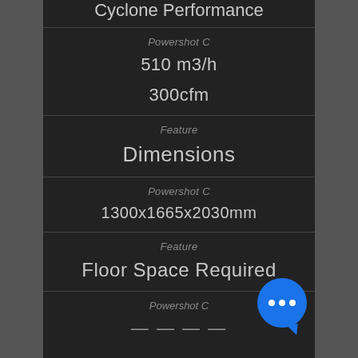Cyclone Performance
Powershot C
510 m3/h
300cfm
Feature
Dimensions
Powershot C
1300x1665x2030mm
Feature
Floor Space Required
Powershot C